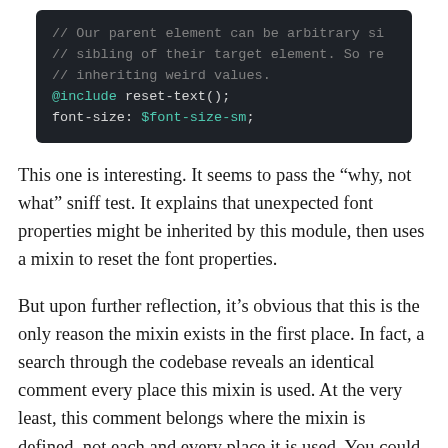[Figure (screenshot): Dark-themed code block showing SCSS/CSS code with comments about parent element size, sibling target element, and inheriting weird values, followed by @include reset-text(); and font-size: $font-size-sm;]
This one is interesting. It seems to pass the “why, not what” sniff test. It explains that unexpected font properties might be inherited by this module, then uses a mixin to reset the font properties.
But upon further reflection, it’s obvious that this is the only reason the mixin exists in the first place. In fact, a search through the codebase reveals an identical comment every place this mixin is used. At the very least, this comment belongs where the mixin is defined, not each and every place it is used. You could move the comment